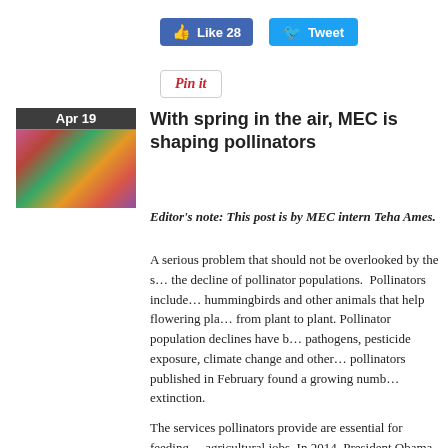[Figure (screenshot): Facebook Like button showing 28 likes and Twitter Tweet button]
[Figure (screenshot): Pinterest Pin It button]
[Figure (photo): Thumbnail photo of a monarch butterfly on pink flowers, dated Apr 19]
With spring in the air, MEC is shaping pollinators
Editor’s note: This post is by MEC intern Teha Ames.
A serious problem that should not be overlooked by the s... the decline of pollinator populations. Pollinators include... hummingbirds and other animals that help flowering pla... from plant to plant. Pollinator population declines have b... pathogens, pesticide exposure, climate change and other... pollinators published in February found a growing numb... extinction.
The services pollinators provide are essential for feeding... agricultural jobs. In 2014, President Obama issued a me... bees and other pollinators are important in the United Sta... adds more than $15 billion in value to agricultural crops...